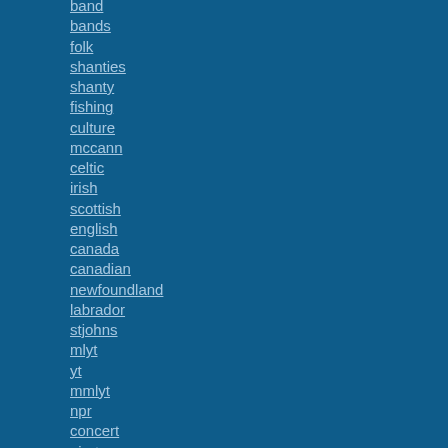band
bands
folk
shanties
shanty
fishing
culture
mccann
celtic
irish
scottish
english
canada
canadian
newfoundland
labrador
stjohns
mlyt
yt
mmlyt
npr
concert
pirates
MegaPost